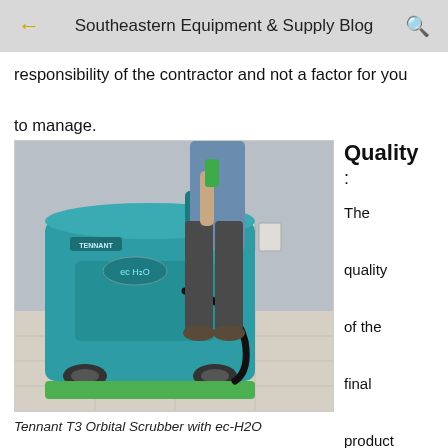Southeastern Equipment & Supply Blog
responsibility of the contractor and not a factor for you to manage.
[Figure (photo): A person operating a Tennant T3 Orbital Scrubber with ec-H2O floor scrubber machine in a room with light-colored tile floor and grey wall]
Tennant T3 Orbital Scrubber with ec-H2O
Quality : The quality of the final product should